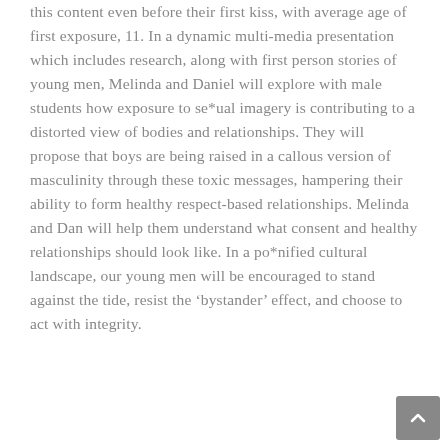this content even before their first kiss, with average age of first exposure, 11. In a dynamic multi-media presentation which includes research, along with first person stories of young men, Melinda and Daniel will explore with male students how exposure to se*ual imagery is contributing to a distorted view of bodies and relationships. They will propose that boys are being raised in a callous version of masculinity through these toxic messages, hampering their ability to form healthy respect-based relationships. Melinda and Dan will help them understand what consent and healthy relationships should look like. In a po*nified cultural landscape, our young men will be encouraged to stand against the tide, resist the ‘bystander’ effect, and choose to act with integrity.